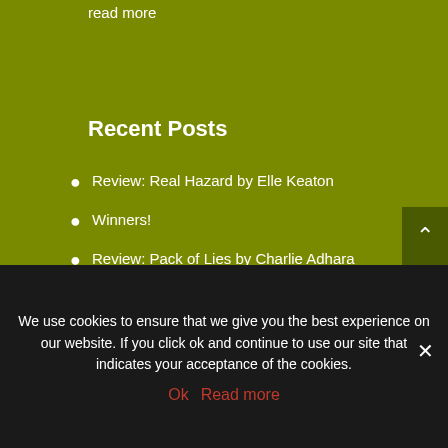read more
Recent Posts
Review: Real Hazard by Elle Keaton
Winners!
Review: Pack of Lies by Charlie Adhara
Review: Finding a Farmer by Jason Wrench
Review: Playing Games by Riley Hart
Excerpt and Giveaway: Hopelessly Hooked by Rose Sinclair
Review: Sinful Mafia Prince by Ella Frank and Brooke Blaine
We use cookies to ensure that we give you the best experience on our website. If you click ok and continue to use our site that indicates your acceptance of the cookies.